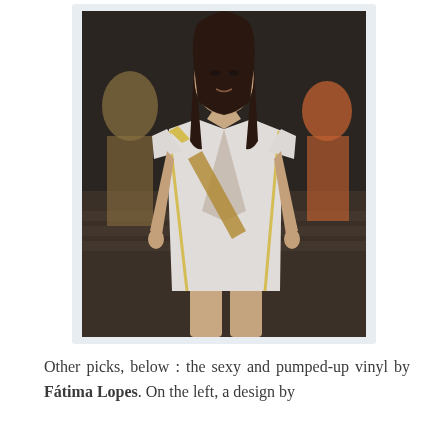[Figure (photo): A fashion runway photo showing a female model walking toward the camera wearing a white blazer with yellow trim and a grey bodysuit/shorts outfit. Other models are visible in the background.]
Other picks, below : the sexy and pumped-up vinyl by Fátima Lopes. On the left, a design by